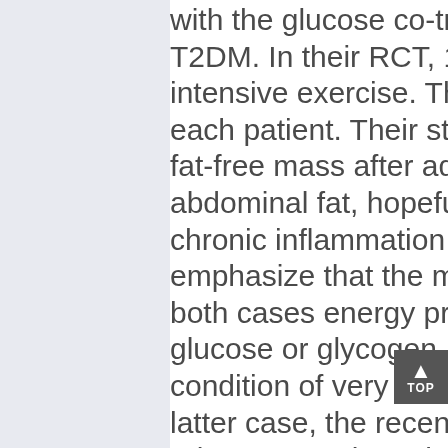with the glucose co-transporter 2 in T2DM. In their RCT, 146 patients intensive exercise. The primary outcome each patient. Their study revealed fat-free mass after administration abdominal fat, hopefully leading chronic inflammation than DAPA emphasize that the mechanisms both cases energy production is glucose or glycogen. It is easy to condition of very low carbohydra latter case, the recent emphasis adverse reactions due to excess ketogenic diets) is rather contran prevent or treat T2DM. Similar experiments have been conclusions were not uniform. T